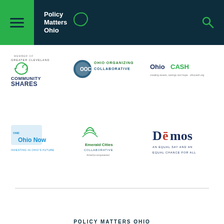[Figure (logo): Policy Matters Ohio website header with green hamburger menu area, dark navy background, Policy Matters Ohio logo text and Ohio state outline, and search icon]
[Figure (logo): Row of partner organization logos: Greater Cleveland Community Shares, Ohio Organizing Collaborative, OhioCASH]
[Figure (logo): Row of partner organization logos: One Ohio Now - Investing in Ohio's Future, Emerald Cities Collaborative - America Empowered, Demos - An Equal Say and an Equal Chance for All]
Quick Navigation
POLICY MATTERS OHIO